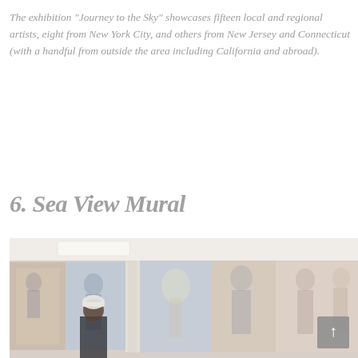The exhibition "Journey to the Sky" showcases fifteen local and regional artists, eight from New York City, and others from New Jersey and Connecticut (with a handful from outside the area including California and abroad).
6. Sea View Mural
[Figure (photo): A colorful large-scale mural in an interior room with a person standing in front of it wearing a white beanie hat. The mural features figures, angels, and vibrant painted scenes across a long wall. A scroll-to-top button is visible in the lower right corner.]